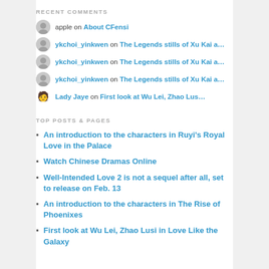RECENT COMMENTS
apple on About CFensi
ykchoi_yinkwen on The Legends stills of Xu Kai a...
ykchoi_yinkwen on The Legends stills of Xu Kai a...
ykchoi_yinkwen on The Legends stills of Xu Kai a...
Lady Jaye on First look at Wu Lei, Zhao Lus...
TOP POSTS & PAGES
An introduction to the characters in Ruyi's Royal Love in the Palace
Watch Chinese Dramas Online
Well-Intended Love 2 is not a sequel after all, set to release on Feb. 13
An introduction to the characters in The Rise of Phoenixes
First look at Wu Lei, Zhao Lusi in Love Like the Galaxy